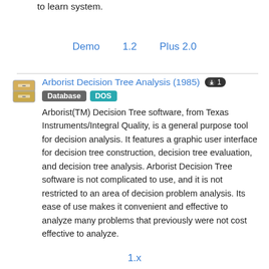to learn system.
Demo    1.2    Plus 2.0
Arborist Decision Tree Analysis (1985)  ⬇1  Database  DOS
Arborist(TM) Decision Tree software, from Texas Instruments/Integral Quality, is a general purpose tool for decision analysis. It features a graphic user interface for decision tree construction, decision tree evaluation, and decision tree analysis. Arborist Decision Tree software is not complicated to use, and it is not restricted to an area of decision problem analysis. Its ease of use makes it convenient and effective to analyze many problems that previously were not cost effective to analyze.
1.x